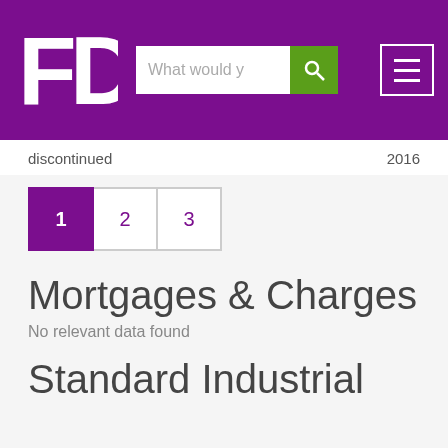FD logo with search bar and navigation menu
discontinued    2016
1  2  3
Mortgages & Charges
No relevant data found
Standard Industrial